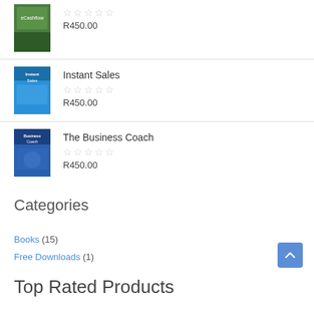[Figure (illustration): Book cover thumbnail (top, partially cropped) with 0-star rating and price R450.00]
R450.00
[Figure (illustration): Book cover for Instant Sales]
Instant Sales
R450.00
[Figure (illustration): Book cover for The Business Coach]
The Business Coach
R450.00
Categories
Books (15)
Free Downloads (1)
Top Rated Products